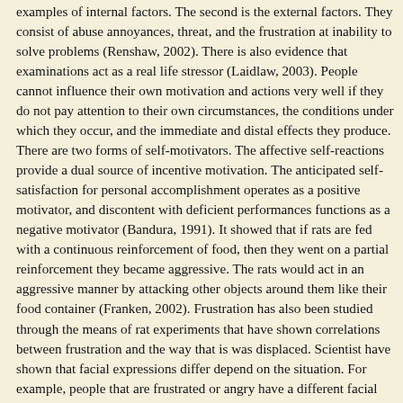examples of internal factors. The second is the external factors. They consist of abuse annoyances, threat, and the frustration at inability to solve problems (Renshaw, 2002). There is also evidence that examinations act as a real life stressor (Laidlaw, 2003). People cannot influence their own motivation and actions very well if they do not pay attention to their own circumstances, the conditions under which they occur, and the immediate and distal effects they produce. There are two forms of self-motivators. The affective self-reactions provide a dual source of incentive motivation. The anticipated self-satisfaction for personal accomplishment operates as a positive motivator, and discontent with deficient performances functions as a negative motivator (Bandura, 1991). It showed that if rats are fed with a continuous reinforcement of food, then they went on a partial reinforcement they became aggressive. The rats would act in an aggressive manner by attacking other objects around them like their food container (Franken, 2002). Frustration has also been studied through the means of rat experiments that have shown correlations between frustration and the way that is was displaced. Scientist have shown that facial expressions differ depend on the situation. For example, people that are frustrated or angry have a different facial expression than that of someone who is depressed or fearful. It has been shown that when a person is frustrated or angry they have the tendency to have their eyebrows drawn down and together, the forehead is wrinkled vertically and the eyes are opened wide but with pupils contracted. The teeth are usually clenched together tightly and the lips may either be